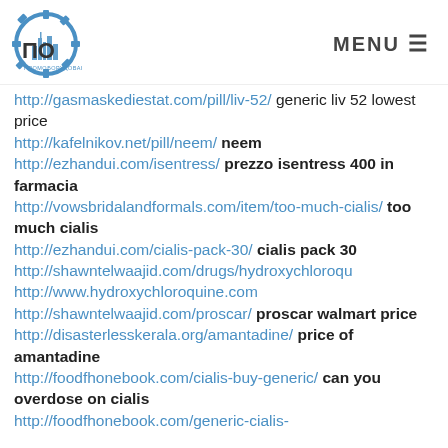ПО ПРОМОБОРУДОВАНИЕ | MENU
http://gasmaskediestat.com/pill/liv-52/ generic liv 52 lowest price http://kafelnikov.net/pill/neem/ neem http://ezhandui.com/isentress/ prezzo isentress 400 in farmacia http://vowsbridalandformals.com/item/too-much-cialis/ too much cialis http://ezhandui.com/cialis-pack-30/ cialis pack 30 http://shawntelwaajid.com/drugs/hydroxychloroqu... http://www.hydroxychloroquine.com http://shawntelwaajid.com/proscar/ proscar walmart price http://disasterlesskerala.org/amantadine/ price of amantadine http://foodfhonebook.com/cialis-buy-generic/ can you overdose on cialis http://foodfhonebook.com/generic-cialis-